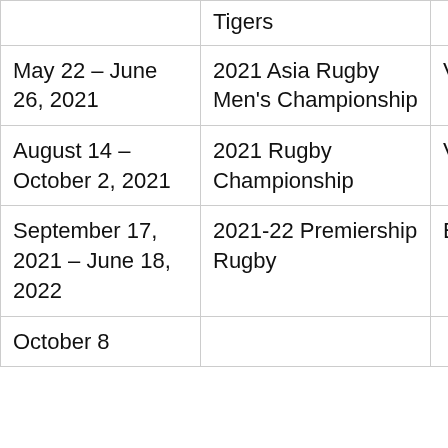| Date | Event | Location |
| --- | --- | --- |
|  | Tigers |  |
| May 22 – June 26, 2021 | 2021 Asia Rugby Men's Championship | Various |
| August 14 – October 2, 2021 | 2021 Rugby Championship | Various |
| September 17, 2021 – June 18, 2022 | 2021-22 Premiership Rugby | England |
| October 8 |  |  |